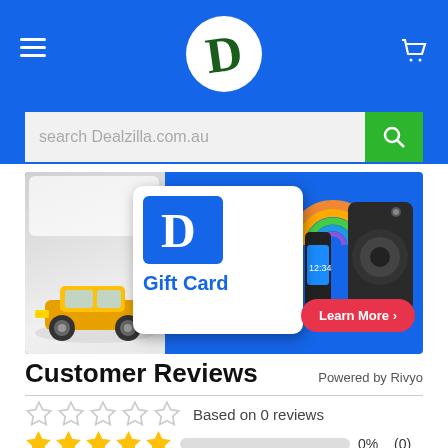[Figure (screenshot): Dealzilla.com.au website header with blue background, hamburger menu on left, circular D logo in center, cart icon on right, search bar below, gift card promotional banner, and Customer Reviews section]
search Dealzilla.com.au
[Figure (photo): Promotional banner featuring a yellow toy car on the left, a Dealzilla gift card in the center on white card background with blue icon, rainbow and smartwatch on the right, and an air fryer, with a red 'Learn More >' button]
Customer Reviews
Powered by Rivyo
Based on 0 reviews
0%  (0)